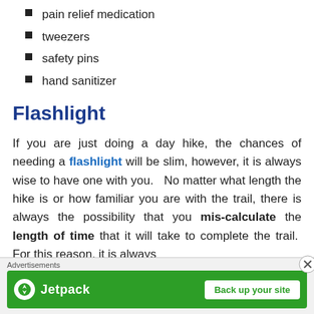pain relief medication
tweezers
safety pins
hand sanitizer
Flashlight
If you are just doing a day hike, the chances of needing a flashlight will be slim, however, it is always wise to have one with you.  No matter what length the hike is or how familiar you are with the trail, there is always the possibility that you mis-calculate the length of time that it will take to complete the trail.  For this reason, it is always recommended that you have a small flashlight on hand.
[Figure (other): Jetpack advertisement banner with Back up your site button]